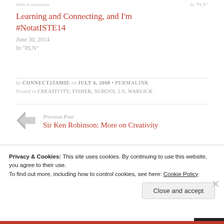With 4 comments   In "PLN"
Learning and Connecting, and I'm #NotatISTE14
June 30, 2014
In "PLN"
by CONNECT2JAMIE on JULY 6, 2008 • PERMALINK
Posted in CREATIVITY, FISHER, SCHOOL 2.0, WARLICK
Previous Post
Sir Ken Robinson: More on Creativity
Privacy & Cookies: This site uses cookies. By continuing to use this website, you agree to their use.
To find out more, including how to control cookies, see here: Cookie Policy
Close and accept